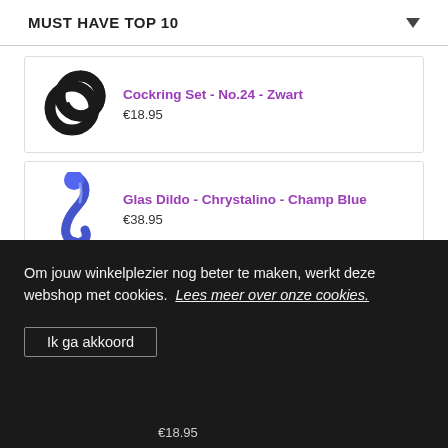MUST HAVE TOP 10
[Figure (photo): Black rubber cockring set product image]
Cockring Set - No.24 - Zwart
€18.95
[Figure (photo): Blue glass dildo Chrystalino Champ product image]
Glas Dildo - Chrystalino - Champ Blue
€38.95
SLT Self Lubrication Pocket Masturbator
Om jouw winkelplezier nog beter te maken, werkt deze webshop met cookies. Lees meer over onze cookies.
Ik ga akkoord
€18.95